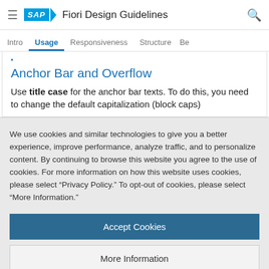SAP Fiori Design Guidelines
Intro | Usage | Responsiveness | Structure | Be
Anchor Bar and Overflow
Use title case for the anchor bar texts. To do this, you need to change the default capitalization (block caps)
We use cookies and similar technologies to give you a better experience, improve performance, analyze traffic, and to personalize content. By continuing to browse this website you agree to the use of cookies. For more information on how this website uses cookies, please select “Privacy Policy.” To opt-out of cookies, please select “More Information.”
Accept Cookies
More Information
Privacy Policy | Powered by: TrustArc
list of all sections and subsections. When the user scrolls